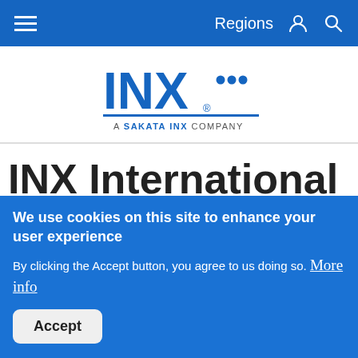Regions
[Figure (logo): INX International logo — bold blue INX letters with decorative dots, tagline 'A SAKATA INX COMPANY' below with a blue underline]
INX International debuts new XJL UV Curable Inkjet Inks
We use cookies on this site to enhance your user experience
By clicking the Accept button, you agree to us doing so. More info
Accept